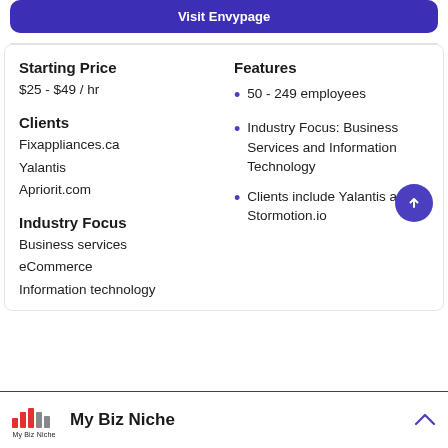Visit Envypage
Starting Price
$25 - $49 / hr
Clients
Fixappliances.ca
Yalantis
Apriorit.com
Industry Focus
Business services
eCommerce
Information technology
Features
50 - 249 employees
Industry Focus: Business Services and Information Technology
Clients include Yalantis and Stormotion.io
My Biz Niche